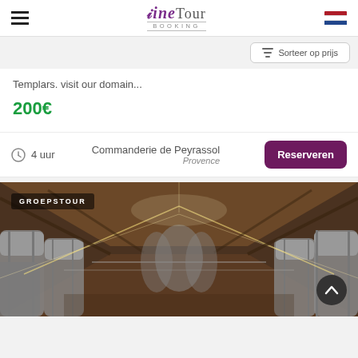Wine Tour Booking
Sorteer op prijs
Templars. visit our domain...
200€
4 uur  Commanderie de Peyrassol  Provence  Reserveren
[Figure (photo): Interior of a winery with large stainless steel fermentation tanks on both sides, wooden beam roof structure, lit by strip lighting. GROEPSTOUR badge in top left.]